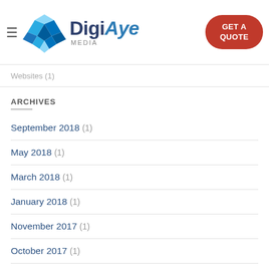[Figure (logo): DigiAye Media logo with geometric blue cube icon and dark blue/blue brand name, plus red 'GET A QUOTE' button in header]
Websites (1)
ARCHIVES
September 2018 (1)
May 2018 (1)
March 2018 (1)
January 2018 (1)
November 2017 (1)
October 2017 (1)
September 2017 (1)